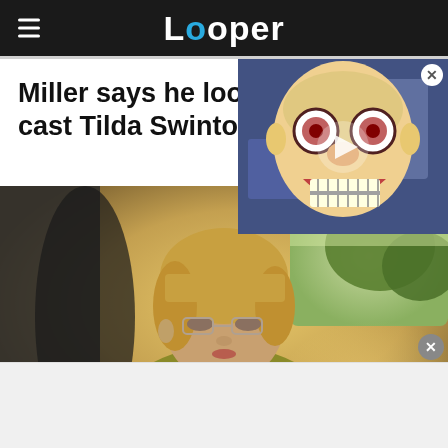Looper
Miller says he looked f cast Tilda Swinton in F
[Figure (photo): Woman with short blonde hair and glasses seated in a car interior with a yellow/olive jacket and seatbelt; warm sunlit background through rear window]
[Figure (screenshot): Animated video ad overlay in top-right corner showing a cartoon face with exaggerated open mouth and wide eyes, play button visible]
[Figure (other): White/light gray bottom advertisement banner area with an X close button]